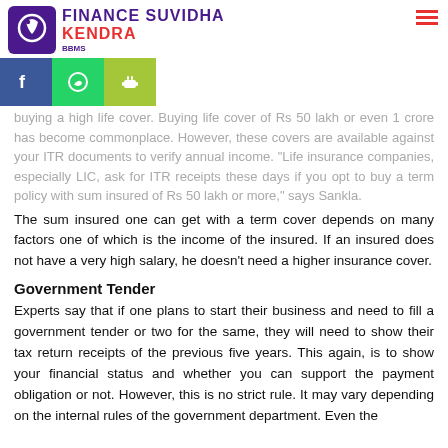Finance Suvidha Kendra
buying a high life cover. Buying life cover of Rs 50 lakh or even 1 crore has become commonplace. However, these covers are available against your ITR documents to verify annual income. "Life insurance companies, especially LIC, ask for ITR receipts these days if you opt to buy a term policy with sum insured of Rs 50 lakh or more," says Sankla.
The sum insured one can get with a term cover depends on many factors one of which is the income of the insured. If an insured does not have a very high salary, he doesn't need a higher insurance cover.
Government Tender
Experts say that if one plans to start their business and need to fill a government tender or two for the same, they will need to show their tax return receipts of the previous five years. This again, is to show your financial status and whether you can support the payment obligation or not. However, this is no strict rule. It may vary depending on the internal rules of the government department. Even the